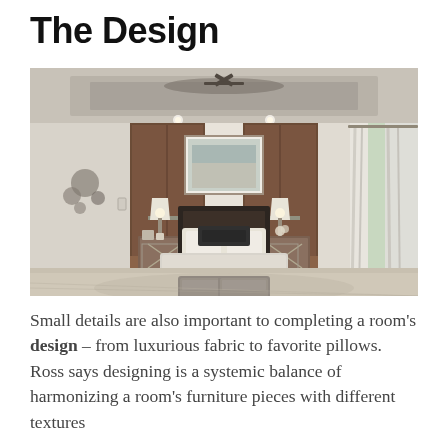The Design
[Figure (photo): A luxury bedroom interior with a large upholstered bed, matching bedside tables with lamps, wood-paneled accent wall, decorative pillows, two fabric ottomans at the foot of the bed, a large framed painting above the headboard, wall decorations on the left, and a sliding glass door with white curtains on the right.]
Small details are also important to completing a room's design – from luxurious fabric to favorite pillows. Ross says designing is a systemic balance of harmonizing a room's furniture pieces with different textures